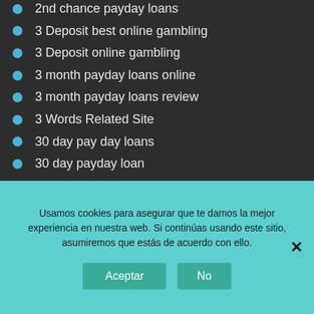2nd chance payday loans
3 Deposit best online gambling
3 Deposit online gambling
3 month payday loans online
3 month payday loans review
3 Words Related Site
30 day pay day loans
30 day payday loan
30 day payday loans
30 day payday loans online
300 Bonus best canadian casino
Usamos cookies para asegurar que te damos la mejor experiencia en nuestra web. Si continúas usando este sitio, asumiremos que estás de acuerdo con ello.